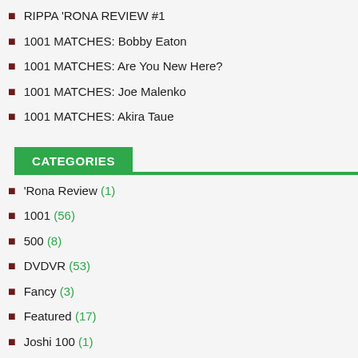RIPPA 'RONA REVIEW #1
1001 MATCHES: Bobby Eaton
1001 MATCHES: Are You New Here?
1001 MATCHES: Joe Malenko
1001 MATCHES: Akira Taue
CATEGORIES
'Rona Review (1)
1001 (56)
500 (8)
DVDVR (53)
Fancy (3)
Featured (17)
Joshi 100 (1)
META (1)
OFF (5)
On the Road (30)